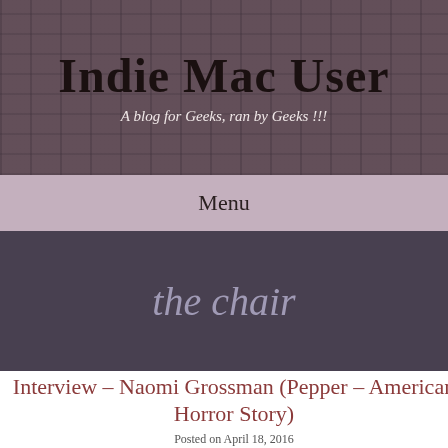Indie Mac User
A blog for Geeks, ran by Geeks !!!
Menu
the chair
Interview – Naomi Grossman (Pepper – American Horror Story)
Posted on April 18, 2016